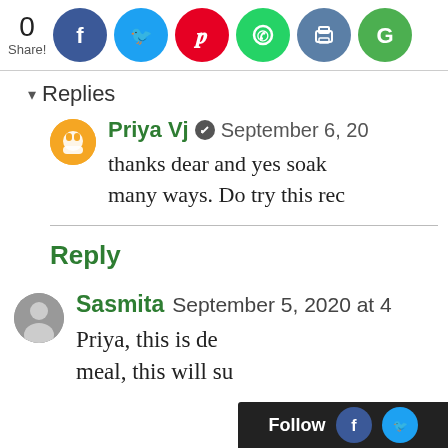0 Share! [Social share icons: Facebook, Twitter, Pinterest, WhatsApp, Print, Google]
▾ Replies
Priya Vj ✎ September 6, 20...
thanks dear and yes soak... many ways. Do try this rec...
Reply
Sasmita September 5, 2020 at 4...
Priya, this is de... meal, this will su...